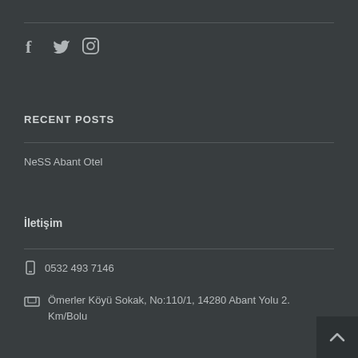[Figure (illustration): Social media icons: Facebook (f), Twitter (bird), Instagram (camera/square)]
RECENT POSTS
NeSS Abant Otel
İletişim
0532 493 7146
Ömerler Köyü Sokak, No:110/1, 14280 Abant Yolu 2. Km/Bolu